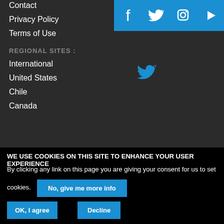Contact
Privacy Policy
Terms of Use
REGIONAL SITES :
International
United States
Chile
Canada
[Figure (other): Social media icons: Facebook, Twitter, Instagram, YouTube in blue squares, plus a standalone Twitter bird icon]
WE USE COOKIES ON THIS SITE TO ENHANCE YOUR USER EXPERIENCE
By clicking any link on this page you are giving your consent for us to set cookies.
No, give me more info
OK, I agree
Decline